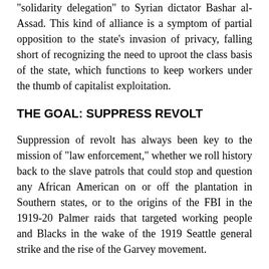“solidarity delegation” to Syrian dictator Bashar al-Assad. This kind of alliance is a symptom of partial opposition to the state’s invasion of privacy, falling short of recognizing the need to uproot the class basis of the state, which functions to keep workers under the thumb of capitalist exploitation.
THE GOAL: SUPPRESS REVOLT
Suppression of revolt has always been key to the mission of “law enforcement,” whether we roll history back to the slave patrols that could stop and question any African American on or off the plantation in Southern states, or to the origins of the FBI in the 1919-20 Palmer raids that targeted working people and Blacks in the wake of the 1919 Seattle general strike and the rise of the Garvey movement.
All of the 1960s mass movements–civil rights, anti-war,